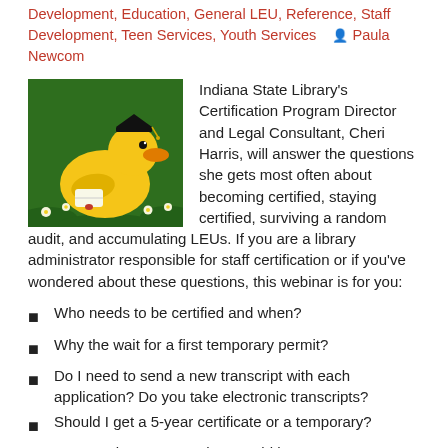Development, Education, General LEU, Reference, Staff Development, Teen Services, Youth Services   Paula Newcom
[Figure (photo): A yellow rubber duck wearing a graduation cap and holding a diploma, sitting on green grass with daisies.]
Indiana State Library's Certification Program Director and Legal Consultant, Cheri Harris, will answer the questions she gets most often about becoming certified, staying certified, surviving a random audit, and accumulating LEUs. If you are a library administrator responsible for staff certification or if you've wondered about these questions, this webinar is for you:
Who needs to be certified and when?
Why the wait for a first temporary permit?
Do I need to send a new transcript with each application? Do you take electronic transcripts?
Should I get a 5-year certificate or a temporary?
Do I need 30 TLEUs 2 hours add hours?